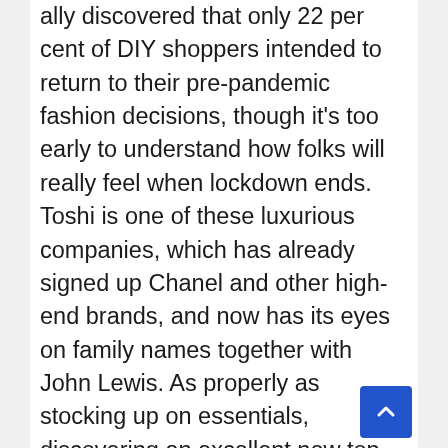ally discovered that only 22 per cent of DIY shoppers intended to return to their pre-pandemic fashion decisions, though it's too early to understand how folks will really feel when lockdown ends. Toshi is one of these luxurious companies, which has already signed up Chanel and other high-end brands, and now has its eyes on family names together with John Lewis. As properly as stocking up on essentials, discovering an excellent new top or a press release coat will surely remain a favourite deal with for lots of once we're out of lockdown, particularly when we get to socialise again. Brands are still having to adapt smartly – and fast – to influence us to part with our money, however. The method we shop for garments has begun altering forever, with many